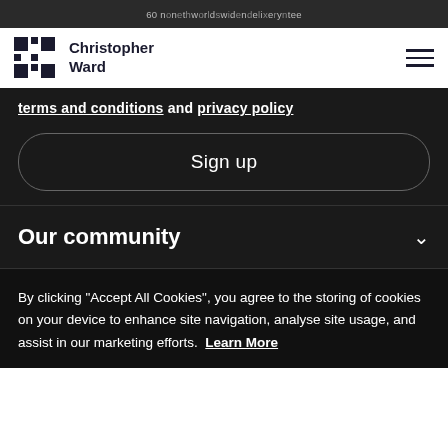60 month worldwide delivery guarantee
[Figure (logo): Christopher Ward brand logo with cross/grid icon and text]
terms and conditions and privacy policy
Sign up
Our community
By clicking “Accept All Cookies”, you agree to the storing of cookies on your device to enhance site navigation, analyse site usage, and assist in our marketing efforts. Learn More